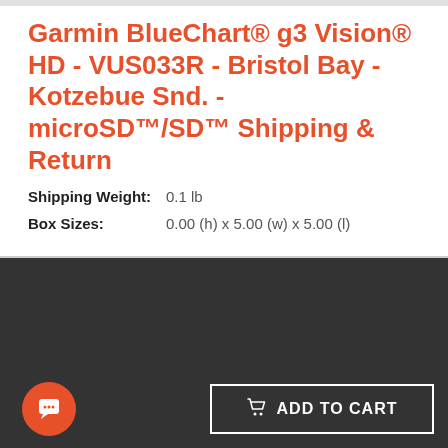Garmin BlueChart® g3 Vision® HD - VUS033R - Bristol Bay - Kotzebue Snd. - microSD™/SD™ Shipping & Return
Shipping Weight:    0.1 lb
Box Sizes:    0.00 (h) x 5.00 (w) x 5.00 (l)
[Figure (photo): Thumbnail map image of Garmin BlueChart g3 Vision HD - Bristol Bay Kotzebue Snd product]
Garmin BlueChart® g3 Vision® HD - VUS033R - Bristol Bay - Kotzebue Snd. - microSD™/SD™
$280.89  $349.99
ADD TO CART